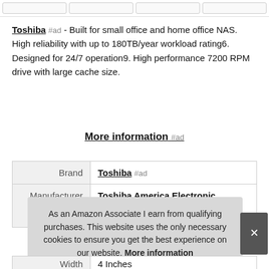[Figure (other): Top strip showing four small image boxes (product images partially visible)]
Toshiba #ad - Built for small office and home office NAS. High reliability with up to 180TB/year workload rating6. Designed for 24/7 operation9. High performance 7200 RPM drive with large cache size.
More information #ad
|  |  |
| --- | --- |
| Brand | Toshiba #ad |
| Manufacturer | Toshiba America Electronic Components Inc
#ad |
As an Amazon Associate I earn from qualifying purchases. This website uses the only necessary cookies to ensure you get the best experience on our website. More information
| Width | 4 Inches |